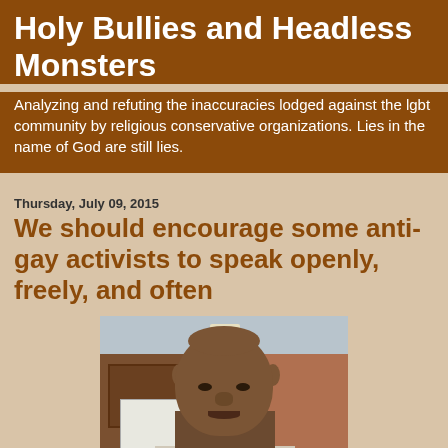Holy Bullies and Headless Monsters
Analyzing and refuting the inaccuracies lodged against the lgbt community by religious conservative organizations. Lies in the name of God are still lies.
Thursday, July 09, 2015
We should encourage some anti-gay activists to speak openly, freely, and often
[Figure (photo): Photo of a Black man in a suit, seated or standing in a room with brick walls and a wooden door in the background]